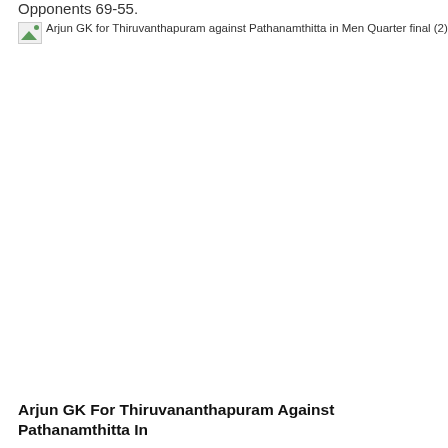Opponents 69-55.
[Figure (photo): Broken image placeholder with alt text: Arjun GK for Thiruvanthapuram against Pathanamthitta in Men Quarter final (2)]
Arjun GK For Thiruvananthapuram Against Pathanamthitta In